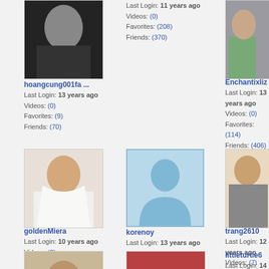[Figure (photo): Profile photo for hoangcung001fa with Love love annie text overlay]
hoangcung001fa ...
Last Login: 13 years ago
Videos: (0)
Favorites: (9)
Friends: (70)
Last Login: 11 years ago
Videos: (0)
Favorites: (208)
Friends: (370)
[Figure (photo): Enchantixliz profile photo - person in purple suit]
Enchantixliz
Last Login: 13 years ago
Videos: (0)
Favorites: (114)
Friends: (406)
[Figure (photo): goldenMiera profile photo - woman in white dress]
goldenMiera
Last Login: 10 years ago
Videos: (0)
Favorites: (3)
Friends: (13)
[Figure (photo): korenoy profile - default blue silhouette placeholder]
korenoy
Last Login: 13 years ago
Videos: (11)
Favorites: (0)
Friends: (135)
[Figure (photo): trang2610 profile photo - person partial view]
trang2610
Last Login: 12 years ago
Videos: (7)
Favorites: (13)
Friends: (248)
[Figure (photo): Bottom left partial profile photo]
[Figure (photo): Bottom center partial profile photo red pattern]
littleturtle6
Last Login: 14 years ago